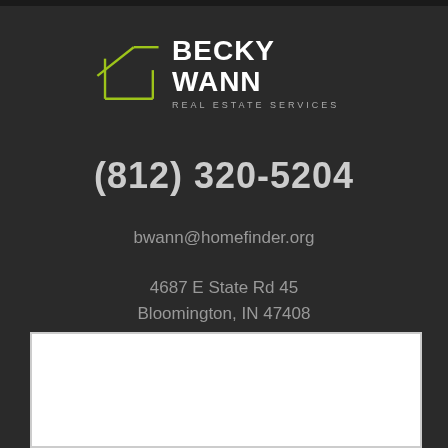[Figure (logo): Becky Wann Real Estate Services logo with house outline in yellow-green and white text]
(812) 320-5204
bwann@homefinder.org
4687 E State Rd 45
Bloomington, IN 47408
[Figure (other): White rectangular box at bottom of page]